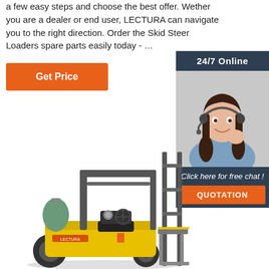a few easy steps and choose the best offer. Wether you are a dealer or end user, LECTURA can navigate you to the right direction. Order the Skid Steer Loaders spare parts easily today - …
Get Price
[Figure (infographic): Sidebar advertisement box with dark blue background. Top section shows '24/7 Online' text. Middle section shows a photo of a smiling woman with headset (customer support). Bottom section has italic text 'Click here for free chat !' and an orange button labeled 'QUOTATION'.]
[Figure (photo): Yellow and grey forklift machine facing right, with propane tank, mast/forks visible, on white background.]